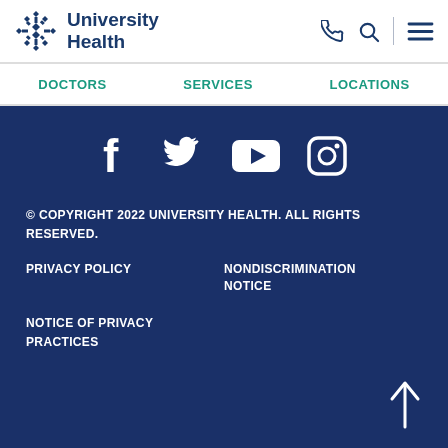University Health
DOCTORS   SERVICES   LOCATIONS
[Figure (logo): Social media icons: Facebook, Twitter, YouTube, Instagram on dark blue background]
© COPYRIGHT 2022 UNIVERSITY HEALTH. ALL RIGHTS RESERVED.
PRIVACY POLICY
NONDISCRIMINATION NOTICE
NOTICE OF PRIVACY PRACTICES